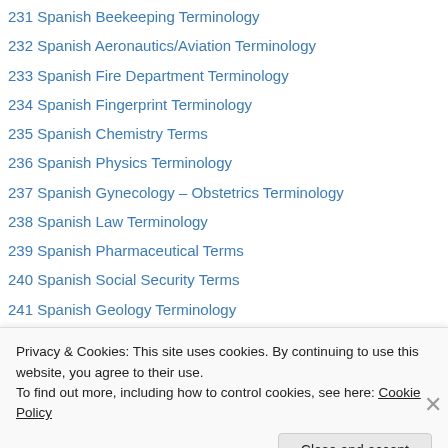231 Spanish Beekeeping Terminology
232 Spanish Aeronautics/Aviation Terminology
233 Spanish Fire Department Terminology
234 Spanish Fingerprint Terminology
235 Spanish Chemistry Terms
236 Spanish Physics Terminology
237 Spanish Gynecology – Obstetrics Terminology
238 Spanish Law Terminology
239 Spanish Pharmaceutical Terms
240 Spanish Social Security Terms
241 Spanish Geology Terminology
242 Spanish Superpowers List
243 Spanish ESP Terms
Privacy & Cookies: This site uses cookies. By continuing to use this website, you agree to their use. To find out more, including how to control cookies, see here: Cookie Policy
Close and accept